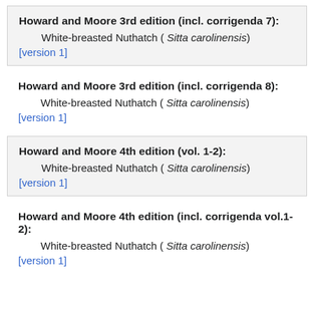Howard and Moore 3rd edition (incl. corrigenda 7):
White-breasted Nuthatch ( Sitta carolinensis)
[version 1]
Howard and Moore 3rd edition (incl. corrigenda 8):
White-breasted Nuthatch ( Sitta carolinensis)
[version 1]
Howard and Moore 4th edition (vol. 1-2):
White-breasted Nuthatch ( Sitta carolinensis)
[version 1]
Howard and Moore 4th edition (incl. corrigenda vol.1-2):
White-breasted Nuthatch ( Sitta carolinensis)
[version 1]